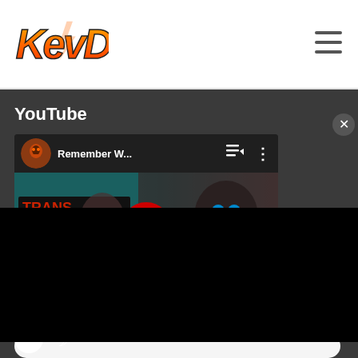[Figure (logo): KevDuit gaming logo in orange stylized text with lightning bolt styling]
[Figure (other): Hamburger menu icon (three horizontal lines) in top right corner]
YouTube
[Figure (screenshot): YouTube playlist thumbnail showing a Transformers War for Cybertron game video titled 'Remember W...' with red play button, channel avatar, playlist and options icons. Black overlay panel partially covers the right side.]
Tw...
[Figure (other): Light/dark mode toggle: white circle toggle button and crescent moon icon]
[Figure (other): White rounded search bar at bottom]